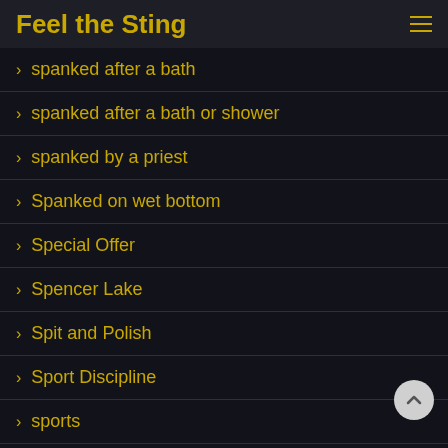Feel the Sting
> spanked after a bath
> spanked after a bath or shower
> spanked by a priest
> Spanked on wet bottom
> Special Offer
> Spencer Lake
> Spit and Polish
> Sport Discipline
> sports
> Sports Report
> Sports Report2
> Sports Report3